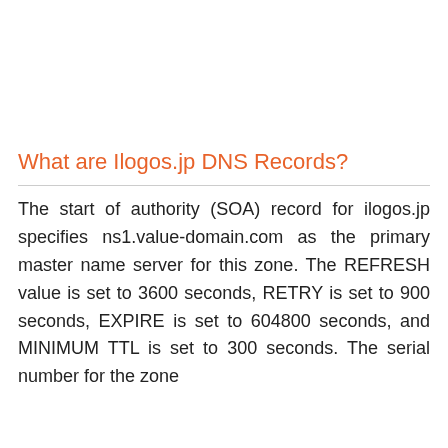What are Ilogos.jp DNS Records?
The start of authority (SOA) record for ilogos.jp specifies ns1.value-domain.com as the primary master name server for this zone. The REFRESH value is set to 3600 seconds, RETRY is set to 900 seconds, EXPIRE is set to 604800 seconds, and MINIMUM TTL is set to 300 seconds. The serial number for the zone